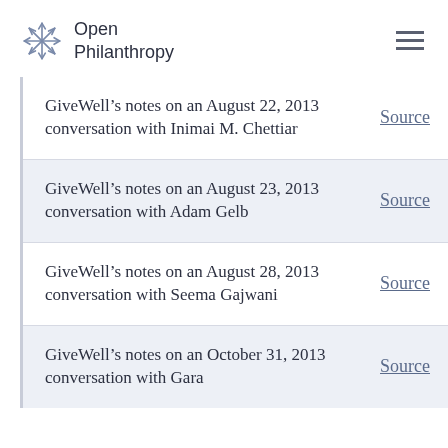Open Philanthropy
GiveWell's notes on an August 22, 2013 conversation with Inimai M. Chettiar | Source
GiveWell's notes on an August 23, 2013 conversation with Adam Gelb | Source
GiveWell's notes on an August 28, 2013 conversation with Seema Gajwani | Source
GiveWell's notes on an October 31, 2013 conversation with Gara… | Source